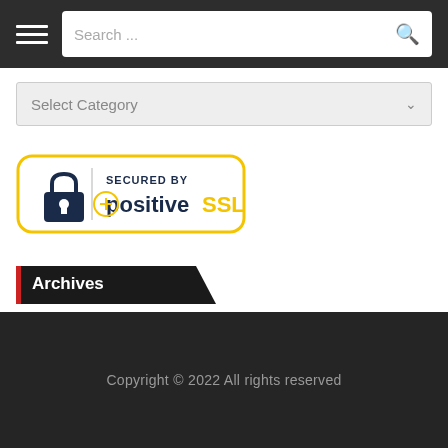Search ...
Select Category
[Figure (logo): Secured by PositiveSSL badge with padlock icon and yellow border]
Archives
Select Month
Copyright © 2022 All rights reserved